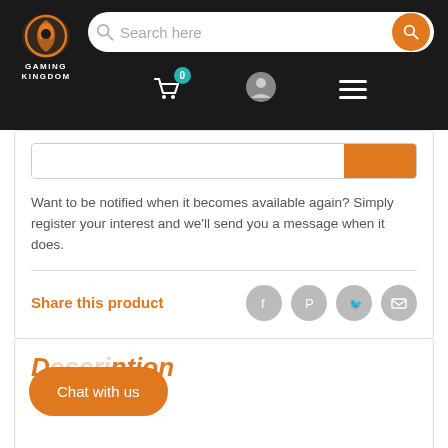[Figure (screenshot): Gaming Kingdom e-commerce website navigation bar with logo, search bar, cart icon with 0 badge, user icon, and hamburger menu on dark background]
Want to be notified when it becomes available again? Simply register your interest and we'll send you a message when it does.
Share this product
Description
Chat with us
| Set: | Battle Rovale Box Set |